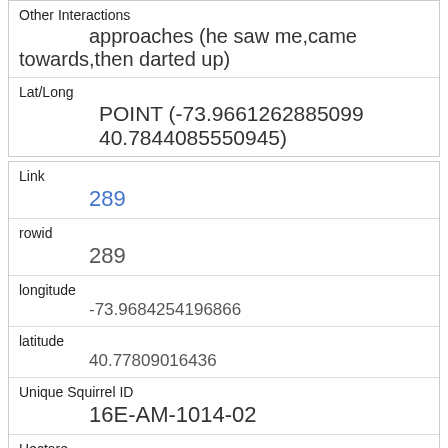| Other Interactions | approaches (he saw me,came towards,then darted up) |
| Lat/Long | POINT (-73.9661262885099 40.7844085550945) |
| Link | 289 |
| rowid | 289 |
| longitude | -73.9684254196866 |
| latitude | 40.77809016436 |
| Unique Squirrel ID | 16E-AM-1014-02 |
| Hectare | 16E |
| Shift | AM |